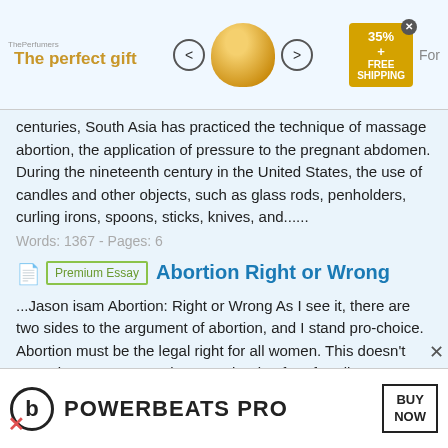[Figure (screenshot): Top advertisement banner: The Perfumers brand with gift promotion, navigation arrows, bowl image, 35% off and FREE SHIPPING offer]
centuries, South Asia has practiced the technique of massage abortion, the application of pressure to the pregnant abdomen. During the nineteenth century in the United States, the use of candles and other objects, such as glass rods, penholders, curling irons, spoons, sticks, knives, and......
Words: 1367 - Pages: 6
Abortion Right or Wrong
...Jason isam Abortion: Right or Wrong As I see it, there are two sides to the argument of abortion, and I stand pro-choice. Abortion must be the legal right for all women. This doesn't mean in any way I condone an abortion free-for-all. For example, all those women
[Figure (screenshot): Bottom advertisement banner for Beats POWERBEATS PRO with BUY NOW button]